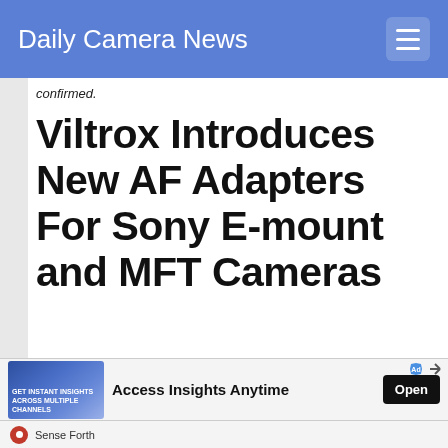Daily Camera News
confirmed.
Viltrox Introduces New AF Adapters For Sony E-mount and MFT Cameras
[Figure (photo): Three camera lenses shown against a dark background, partially cropped at bottom of page]
use cookies to ensure that we give you the best experience on
[Figure (infographic): Advertisement banner: GET INSTANT INSIGHTS ACROSS MULTIPLE CHANNELS - Access Insights Anytime - Open button]
Sense Forth